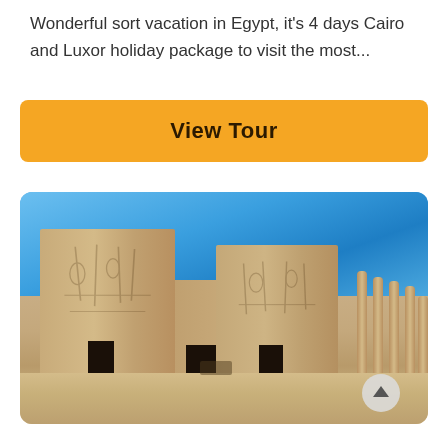Wonderful sort vacation in Egypt, it's 4 days Cairo and Luxor holiday package to visit the most...
[Figure (other): Orange 'View Tour' button with rounded corners on white background]
[Figure (photo): Photo of an ancient Egyptian temple (Philae Temple) with large stone pylons carved with hieroglyphic figures, blue sky, and stone columns on the right]